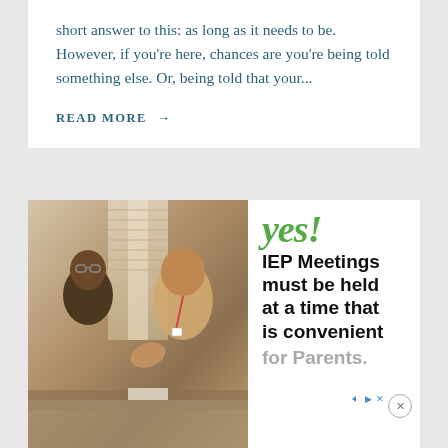short answer to this: as long as it needs to be. However, if you're here, chances are you're being told something else. Or, being told that your...
READ MORE →
[Figure (photo): Two people in a meeting room having a conversation, one gesturing with hand]
yes! IEP Meetings must be held at a time that is convenient for Parents.